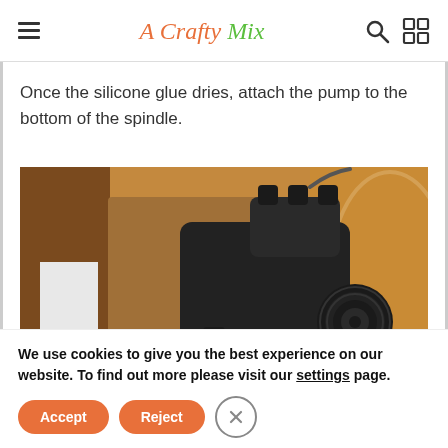A Crafty Mix
Once the silicone glue dries, attach the pump to the bottom of the spindle.
[Figure (photo): Close-up photo of a black water pump attached to the bottom of a wooden spindle, with a transparent bowl visible in the background.]
We use cookies to give you the best experience on our website. To find out more please visit our settings page.
Accept | Reject | Close